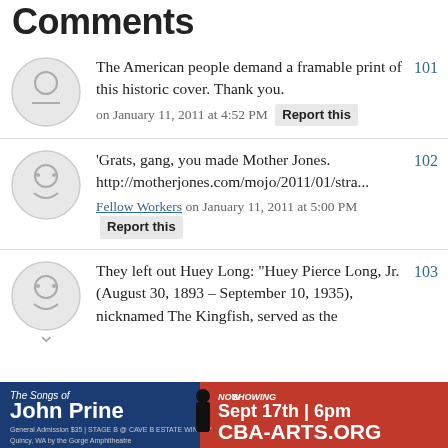Comments
The American people demand a framable print of this historic cover. Thank you.
on January 11, 2011 at 4:52 PM  Report this  101
'Grats, gang, you made Mother Jones. http://motherjones.com/mojo/2011/01/stra...
Fellow Workers on January 11, 2011 at 5:00 PM  Report this  102
They left out Huey Long: "Huey Pierce Long, Jr. (August 30, 1893 – September 10, 1935), nicknamed The Kingfish, served as the  103
[Figure (infographic): Advertisement banner: The Songs of John Prine, Now Showing Sept 17th 6pm, General Admission $35, Stage B @ Cave B Estate Winery, Quincy WA by the Gorge Amphitheatre, CBA-ARTS.ORG]